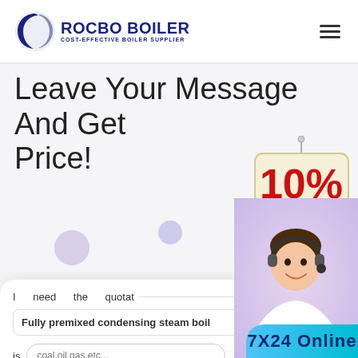[Figure (logo): Rocbo Boiler logo with crescent moon/C shape icon and text 'ROCBO BOILER' and 'COST-EFFECTIVE BOILER SUPPLIER']
Leave Your Message And Get Price!
[Figure (illustration): 10% DISCOUNT hanging sign illustration]
I need the quotation of
Fully premixed condensing steam boil
is [coal,oil,gas,etc...] , this
eg:5ton/h or 5mw
[Figure (photo): Customer service representative wearing headset, smiling]
7X24 Online